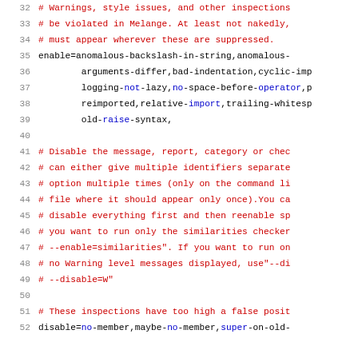Code listing lines 32-52 showing pylint configuration file content with comments and enable/disable options.